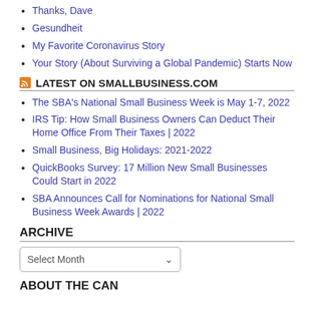Thanks, Dave
Gesundheit
My Favorite Coronavirus Story
Your Story (About Surviving a Global Pandemic) Starts Now
LATEST ON SMALLBUSINESS.COM
The SBA's National Small Business Week is May 1-7, 2022
IRS Tip: How Small Business Owners Can Deduct Their Home Office From Their Taxes | 2022
Small Business, Big Holidays: 2021-2022
QuickBooks Survey: 17 Million New Small Businesses Could Start in 2022
SBA Announces Call for Nominations for National Small Business Week Awards | 2022
ARCHIVE
Select Month
ABOUT THE CAN